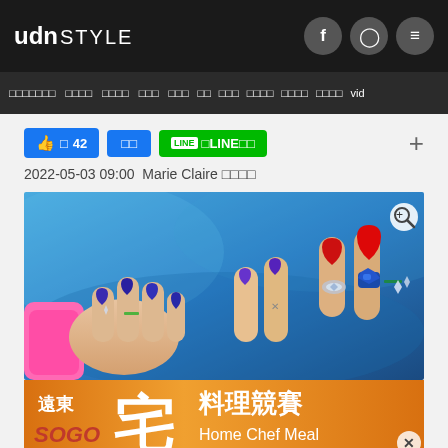udn STYLE
□□□□□□□  □□□□  □□□□  □□□  □□□  □□  □□□  □□□□  □□□□  □□□□  vid
👍 □ 42   □□   LINE□LINE□□   +
2022-05-03 09:00  Marie Claire □□□□
[Figure (photo): Hands with nail art featuring heart shapes in blue, red and purple on fingers, with jeweled decorations, set against a blue background]
[Figure (infographic): Advertisement banner: 遠東 宅 料理競賽 SOGO Home Chef Meal in orange background with red and white text]